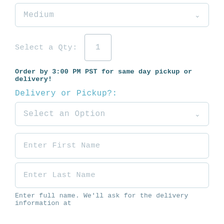Medium
Select a Qty: 1
Order by 3:00 PM PST for same day pickup or delivery!
Delivery or Pickup?:
Select an Option
Enter First Name
Enter Last Name
Enter full name. We'll ask for delivery information at